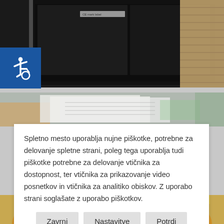[Figure (photo): Close-up photo of a dark oven/appliance interior with glossy black surface and some metallic parts, partial view of blinds on the right]
[Figure (photo): Partial photo of hands holding papers/documents]
Spletno mesto uporablja nujne piškotke, potrebne za delovanje spletne strani, poleg tega uporablja tudi piškotke potrebne za delovanje vtičnika za dostopnost, ter vtičnika za prikazovanje video posnetkov in vtičnika za analitiko obiskov. Z uporabo strani soglašate z uporabo piškotkov.
[Figure (photo): Partial view of a pizza with cheese and toppings]